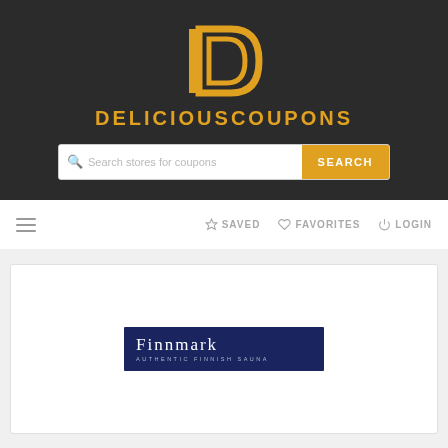[Figure (logo): DeliciousCoupons logo: stylized gold D icon above the text DELICIOUSCOUPONS in gold on dark background]
[Figure (screenshot): Search bar with placeholder 'Search stores for coupons' and a gold SEARCH button]
≡  ☆ SAVED  ♡ FAVORITES  ⏻ LOGIN
[Figure (logo): Finnmark Authentic Finnish Sauna logo — white text on navy blue rectangle background]